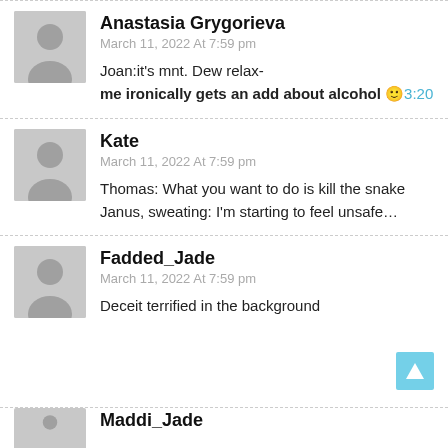Anastasia Grygorieva
March 11, 2022 At 7:59 pm
Joan:it's mnt. Dew relax-
me ironically gets an add about alcohol 🙂3:20
Kate
March 11, 2022 At 7:59 pm
Thomas: What you want to do is kill the snake
Janus, sweating: I'm starting to feel unsafe…
Fadded_Jade
March 11, 2022 At 7:59 pm
Deceit terrified in the background
Maddi_Jade